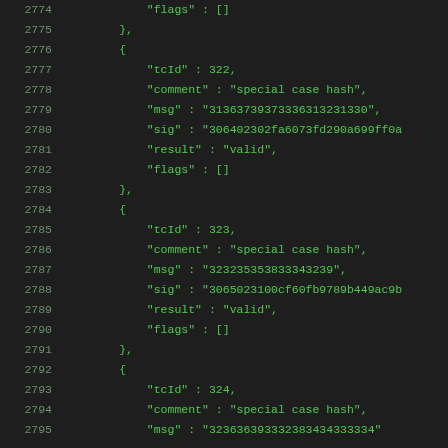2774    "flags" : []
2775    },
2776    {
2777        "tcId" : 322,
2778        "comment" : "special case hash",
2779        "msg" : "313637393733363132313​30",
2780        "sig" : "306402302fa6073fd290a699ff0a
2781        "result" : "valid",
2782        "flags" : []
2783    },
2784    {
2785        "tcId" : 323,
2786        "comment" : "special case hash",
2787        "msg" : "323235353833343239",
2788        "sig" : "3065023100cf60fb9789b449ac9b
2789        "result" : "valid",
2790        "flags" : []
2791    },
2792    {
2793        "tcId" : 324,
2794        "comment" : "special case hash",
2795        "msg" : "323636393332383434333334"